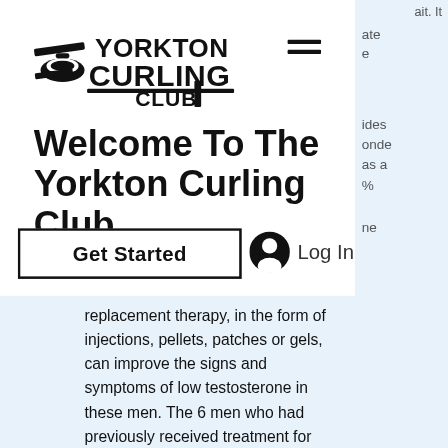[Figure (logo): Yorkton Curling Club logo with curling stone and broom icon]
Welcome To The Yorkton Curling Club
[Figure (other): Hamburger menu icon (three horizontal lines)]
Get Started
Log In
replacement therapy, in the form of injections, pellets, patches or gels, can improve the signs and symptoms of low testosterone in these men. The 6 men who had previously received treatment for hypogonadism had used either depot testoster- one injections or the androderm patch. Only 1 patient (patient. Testosterone injections build slightly better muscle mass and enhance strength far more than the
ate
e
ides
onde
as a
%
ne